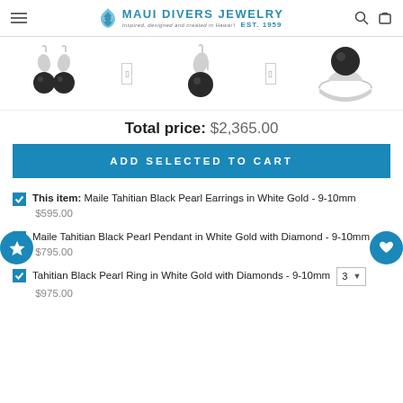Maui Divers Jewelry — Inspired, designed and created in Hawai'i EST. 1959
[Figure (photo): Three product images: black pearl earrings, black pearl pendant, and black pearl ring in white gold, displayed in a row with navigation arrows]
Total price: $2,365.00
ADD SELECTED TO CART
This item: Maile Tahitian Black Pearl Earrings in White Gold - 9-10mm $595.00
Maile Tahitian Black Pearl Pendant in White Gold with Diamond - 9-10mm $795.00
Tahitian Black Pearl Ring in White Gold with Diamonds - 9-10mm 3 ▼ $975.00